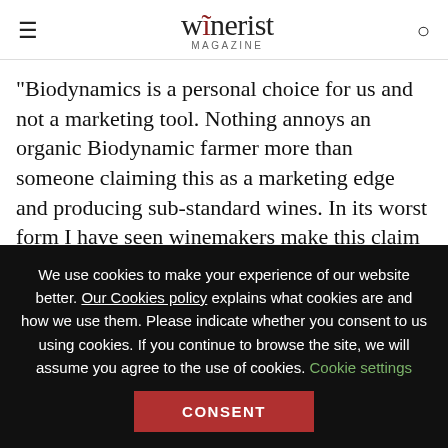winerist Magazine
“Biodynamics is a personal choice for us and not a marketing tool. Nothing annoys an organic Biodynamic farmer more than someone claiming this as a marketing edge and producing sub-standard wines. In its worst form I have seen winemakers make this claim without being organic which sends me to tears! To understand Biodynamic farming is to understand your environment and the impact
We use cookies to make your experience of our website better. Our Cookies policy explains what cookies are and how we use them. Please indicate whether you consent to us using cookies. If you continue to browse the site, we will assume you agree to the use of cookies. Cookie settings CONSENT